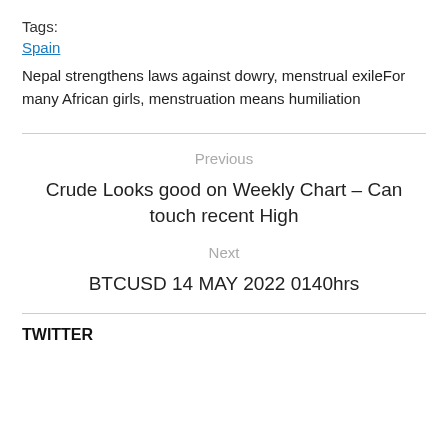Tags:
Spain
Nepal strengthens laws against dowry, menstrual exileFor many African girls, menstruation means humiliation
Previous
Crude Looks good on Weekly Chart – Can touch recent High
Next
BTCUSD 14 MAY 2022 0140hrs
TWITTER